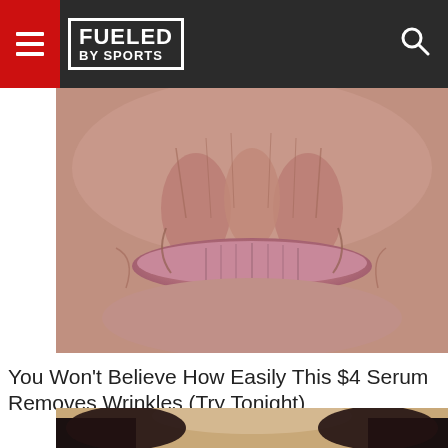FUELED BY SPORTS
[Figure (photo): Close-up photo of elderly person's mouth area showing heavily wrinkled skin and lips]
You Won't Believe How Easily This $4 Serum Removes Wrinkles (Try Tonight)
[Figure (photo): Partial photo of a woman with dark hair, only top of head visible at bottom of page]